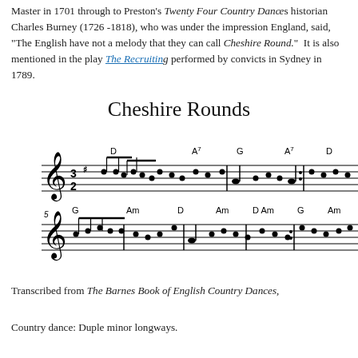Master in 1701 through to Preston's Twenty Four Country Dances... historian Charles Burney (1726 -1818), who was under the impression... England, said, "The English have not a melody that they can call... Cheshire Round." It is also mentioned in the play The Recruiting Officer, performed by convicts in Sydney in 1789.
Cheshire Rounds
[Figure (illustration): Sheet music for Cheshire Rounds showing two lines of musical notation in D major (3/2 time) with chord symbols D, A7, G, A7, D above the first line and G, Am, D, Am, D Am, G, Am above the second line.]
Transcribed from The Barnes Book of English Country Dances,
Country dance: Duple minor longways.